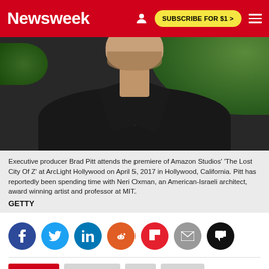Newsweek   SUBSCRIBE FOR $1 >
[Figure (photo): Executive producer Brad Pitt photographed from chest up, wearing dark jacket with light shirt collar visible, with green foliage background]
Executive producer Brad Pitt attends the premiere of Amazon Studios' 'The Lost City Of Z' at ArcLight Hollywood on April 5, 2017 in Hollywood, California. Pitt has reportedly been spending time with Neri Oxman, an American-Israeli architect, award winning artist and professor at MIT. GETTY
[Figure (infographic): Social sharing icons: Facebook, Twitter, LinkedIn, Reddit, Flipboard, Email, and a thumbs-down button]
CULTURE   BRAD PITT   MIT   ISRAEL